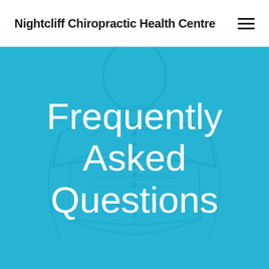Nightcliff Chiropractic Health Centre
[Figure (illustration): Blue hero banner with a faint X-ray style human body silhouette in the background, showing skeletal/anatomical features on a bright cyan-blue (#26b3d4) background.]
Frequently Asked Questions